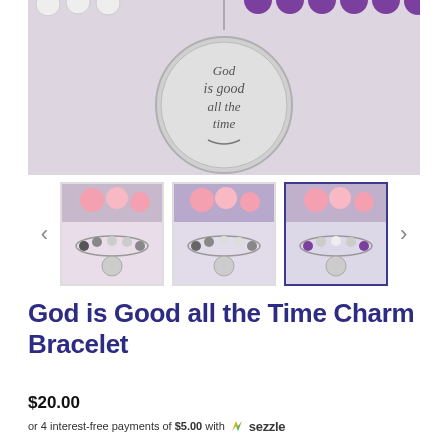[Figure (photo): Close-up photo of a beaded bracelet with purple and white beads, featuring a silver circular charm engraved with 'God is good all the time' in calligraphy script.]
[Figure (photo): Three thumbnail images of the 'God is Good all the Time' charm bracelet showing different bead color variants. Third thumbnail is selected with a dark blue border.]
God is Good all the Time Charm Bracelet
$20.00
or 4 interest-free payments of $5.00 with sezzle